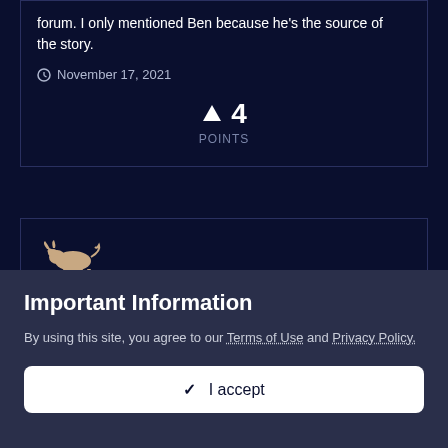forum. I only mentioned Ben because he's the source of the story.
November 17, 2021
4 POINTS
[Figure (illustration): Small pixel-art bull/charging animal icon in beige/tan color]
Your favorite Dukes game?
Skipper Duke and 3 others reacted to HossC for a topic
Important Information
By using this site, you agree to our Terms of Use and Privacy Policy.
✓ I accept